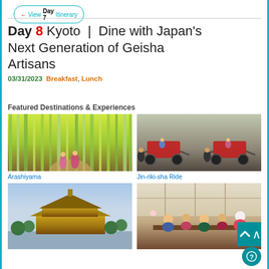← View Day 7 Itinerary
Day 8 Kyoto | Dine with Japan's Next Generation of Geisha Artisans
03/31/2023 Breakfast, Lunch
Featured Destinations & Experiences
[Figure (photo): Two women in kimono walking through Arashiyama bamboo grove]
Arashiyama
[Figure (photo): People riding jin-riki-sha (rickshaw) with pullers in forest setting]
Jin-riki-sha Ride
[Figure (photo): Kinkaku-ji golden pavilion temple in Kyoto]
[Figure (photo): Dining experience with geisha artisans in traditional Japanese room]